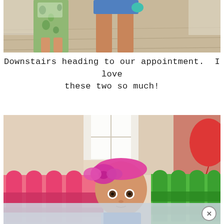[Figure (photo): Photo showing legs of two people (an adult and a child in a green floral dress) standing on a wooden floor, shot from waist down, likely in a stairway/lobby area.]
Downstairs heading to our appointment.  I love these two so much!
[Figure (photo): Photo of a baby wearing a pink knitted headband/bow, sitting in a colorful play area with pink and green plastic fence-style barriers, with a red balloon visible in the upper right. A white stuffed animal or blanket is partially visible at the bottom.]